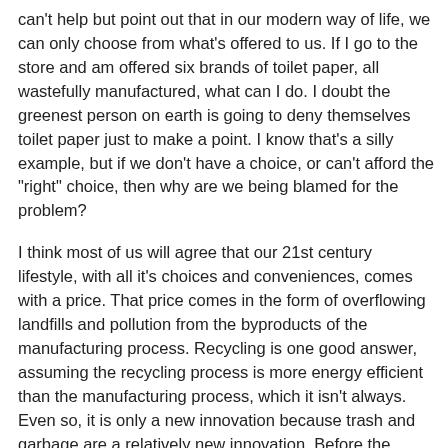can't help but point out that in our modern way of life, we can only choose from what's offered to us. If I go to the store and am offered six brands of toilet paper, all wastefully manufactured, what can I do. I doubt the greenest person on earth is going to deny themselves toilet paper just to make a point. I know that's a silly example, but if we don't have a choice, or can't afford the "right" choice, then why are we being blamed for the problem?
I think most of us will agree that our 21st century lifestyle, with all it's choices and conveniences, comes with a price. That price comes in the form of overflowing landfills and pollution from the byproducts of the manufacturing process. Recycling is one good answer, assuming the recycling process is more energy efficient than the manufacturing process, which it isn't always. Even so, it is only a new innovation because trash and garbage are a relatively new innovation. Before the industrial age, folks had less. In having to make do with less, they were creative and clever with what they had. They produced very little actual waste. This was their way of life.